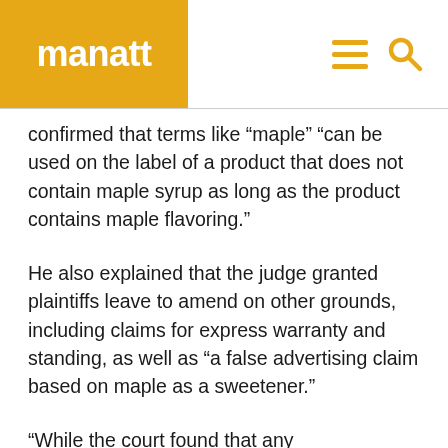manatt
confirmed that terms like “maple” “can be used on the label of a product that does not contain maple syrup as long as the product contains maple flavoring.”
He also explained that the judge granted plaintiffs leave to amend on other grounds, including claims for express warranty and standing, as well as “a false advertising claim based on maple as a sweetener.”
“While the court found that any misrepresentation or false advertising claim premised on federal compliant ‘flavor’ labeling would be preempted, the